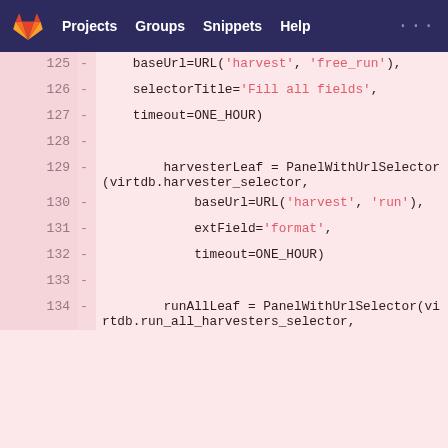Projects  Groups  Snippets  Help  ...
[Figure (screenshot): GitLab code diff view showing lines 125-134 of a Python/Django file. Lines are highlighted in pink (removed). Code shows baseUrl=URL('harvest', 'free_run'), selectorTitle='Fill all fields', timeout=ONE_HOUR), harvesterLeaf = PanelWithUrlSelector(virtdb.harvester_selector, baseUrl=URL('harvest', 'run'), extField='format', timeout=ONE_HOUR), runAllLeaf = PanelWithUrlSelector(virtdb.run_all_harvesters_selector,]